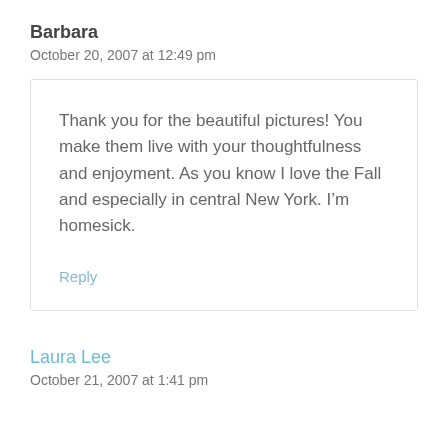Barbara
October 20, 2007 at 12:49 pm
Thank you for the beautiful pictures! You make them live with your thoughtfulness and enjoyment. As you know I love the Fall and especially in central New York. I’m homesick.
Reply
Laura Lee
October 21, 2007 at 1:41 pm